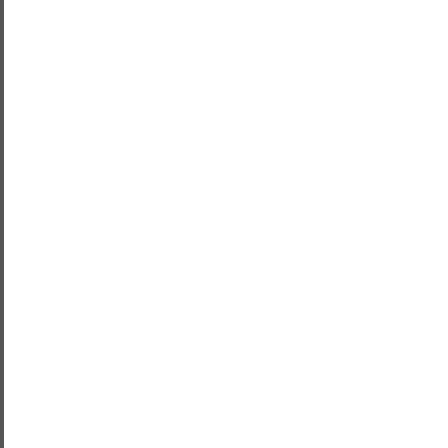[Figure (illustration): Green spiral sunflower-like pattern avatar thumbnail at top (partially visible)]
Nothing rounds out the perfect shoulders, and with its potent c movements, this routine will lea Whether you want to build http and tighten what you've alread exercises will get you the resu
[Figure (illustration): Teal/green radial grid pattern avatar thumbnail]
The good news, thank you!
[Figure (illustration): Blue radial/concentric arc pattern avatar thumbnail]
well, thank u for ur article, whic
Posted
[Figure (illustration): Red/pink cracked pattern avatar thumbnail (partially visible at bottom)]
can accept failure, but can not